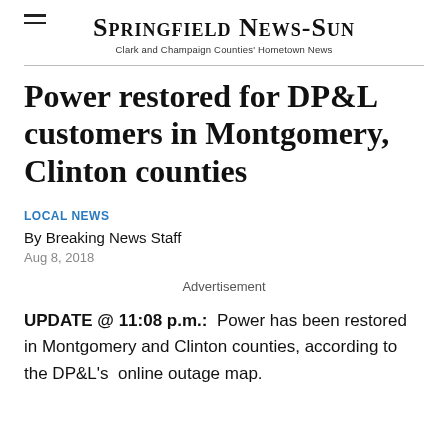SPRINGFIELD NEWS-SUN
Clark and Champaign Counties' Hometown News
Power restored for DP&L customers in Montgomery, Clinton counties
LOCAL NEWS
By Breaking News Staff
Aug 8, 2018
Advertisement
UPDATE @ 11:08 p.m.:  Power has been restored in Montgomery and Clinton counties, according to the DP&L's  online outage map.